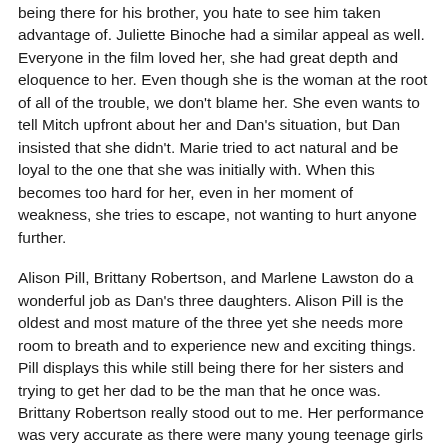being there for his brother, you hate to see him taken advantage of. Juliette Binoche had a similar appeal as well. Everyone in the film loved her, she had great depth and eloquence to her. Even though she is the woman at the root of all of the trouble, we don't blame her. She even wants to tell Mitch upfront about her and Dan's situation, but Dan insisted that she didn't. Marie tried to act natural and be loyal to the one that she was initially with. When this becomes too hard for her, even in her moment of weakness, she tries to escape, not wanting to hurt anyone further.
Alison Pill, Brittany Robertson, and Marlene Lawston do a wonderful job as Dan's three daughters. Alison Pill is the oldest and most mature of the three yet she needs more room to breath and to experience new and exciting things. Pill displays this while still being there for her sisters and trying to get her dad to be the man that he once was. Brittany Robertson really stood out to me. Her performance was very accurate as there were many young teenage girls who she so closely resembled. Robertson's character, Cara, hates to spend a minute away from her social life especially her boyfriend. She is so sure that she is completely in love